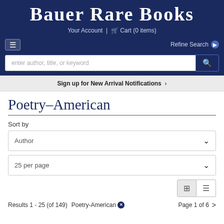Bauer Rare Books
Your Account | Cart (0 items)
Refine Search
enter author, title, or keyword
Sign up for New Arrival Notifications >
Poetry-American
Sort by
Author
25 per page
Results 1 - 25 (of 149)  Poetry-American  Page 1 of 6  >